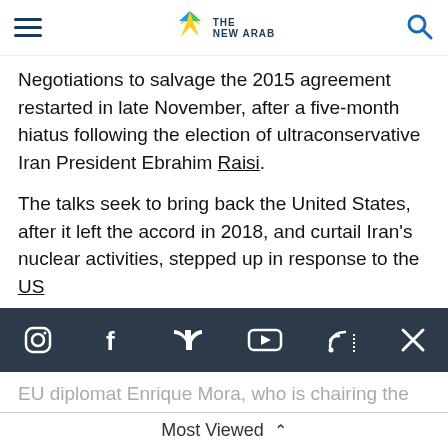The New Arab
Negotiations to salvage the 2015 agreement restarted in late November, after a five-month hiatus following the election of ultraconservative Iran President Ebrahim Raisi.
The talks seek to bring back the United States, after it left the accord in 2018, and curtail Iran's nuclear activities, stepped up in response to the US
[Figure (other): Social media icons bar with Instagram, Facebook, Twitter, YouTube, RSS, and X icons on dark background]
EU diplomat Enrique Mora, who is chairing the talks, said all sides were showing "a clear will to work toward the successful end of this negotiation".
"It's a very good sign... We will be working very
Most Viewed ^